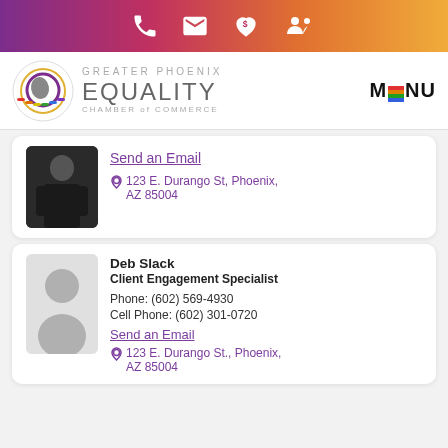[Figure (infographic): Top gradient navigation bar with phone, email, heart/dollar, and people icons in white on pink-to-orange gradient]
[Figure (logo): Greater Phoenix Equality Chamber of Commerce logo with rainbow bird emblem, and MENU button with rainbow-colored E]
[Figure (photo): Partial profile photo of a person in dark clothing]
Send an Email
123 E. Durango St, Phoenix, AZ 85004
Deb Slack
Client Engagement Specialist
Phone: (602) 569-4930
Cell Phone: (602) 301-0720
Send an Email
123 E. Durango St., Phoenix, AZ 85004